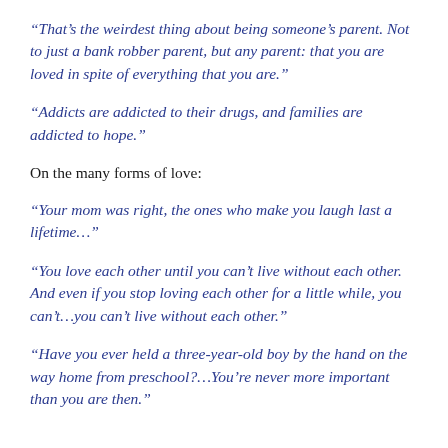“That’s the weirdest thing about being someone’s parent. Not to just a bank robber parent, but any parent: that you are loved in spite of everything that you are.”
“Addicts are addicted to their drugs, and families are addicted to hope.”
On the many forms of love:
“Your mom was right, the ones who make you laugh last a lifetime…”
“You love each other until you can’t live without each other. And even if you stop loving each other for a little while, you can’t…you can’t live without each other.”
“Have you ever held a three-year-old boy by the hand on the way home from preschool?…You’re never more important than you are then.”